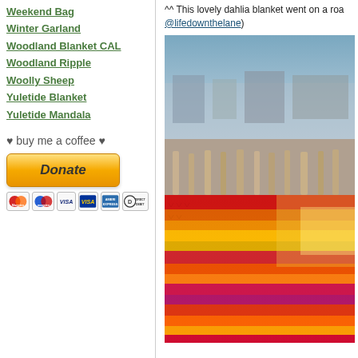Weekend Bag
Winter Garland
Woodland Blanket CAL
Woodland Ripple
Woolly Sheep
Yuletide Blanket
Yuletide Mandala
♥ buy me a coffee ♥
[Figure (other): PayPal Donate button with payment method icons (Maestro, Maestro, VISA, VISA, American Express, Direct Debit)]
^^ This lovely dahlia blanket went on a ro... @lifedownthelane)
[Figure (photo): A colorful crocheted blanket with stripes in red, orange, yellow, pink, and purple draped over a wooden railing with a harbour/marina background]